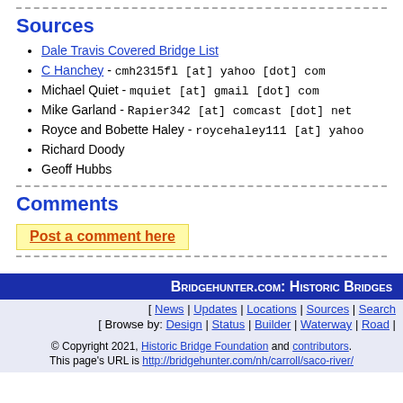Sources
Dale Travis Covered Bridge List
C Hanchey - cmh2315fl [at] yahoo [dot] com
Michael Quiet - mquiet [at] gmail [dot] com
Mike Garland - Rapier342 [at] comcast [dot] net
Royce and Bobette Haley - roycehaley111 [at] yahoo
Richard Doody
Geoff Hubbs
Comments
Post a comment here
Bridgehunter.com: Historic Bridges | News | Updates | Locations | Sources | Search | Browse by: Design | Status | Builder | Waterway | Road | © Copyright 2021, Historic Bridge Foundation and contributors. This page's URL is http://bridgehunter.com/nh/carroll/saco-river/